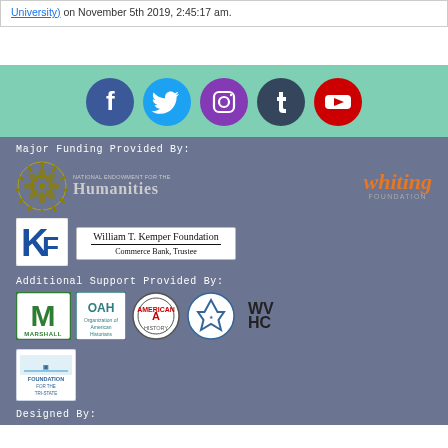University) on November 5th 2019, 2:45:17 am.
[Figure (infographic): Social media icons row: Facebook (blue circle with f), Twitter (teal circle with bird), Instagram (purple circle with camera), Tumblr (dark blue circle with t), YouTube (red circle with play button)]
Major Funding Provided By:
[Figure (logo): National Endowment for the Humanities logo - olive/gold sunburst with text 'NATIONAL ENDOWMENT FOR THE Humanities']
[Figure (logo): Whiting Foundation logo - orange 'whiting' text with gray 'FOUNDATION' below]
[Figure (logo): KF logo - blue and white K and F letters]
[Figure (logo): William T. Kemper Foundation - Commerce Bank, Trustee - white box with serif text]
Additional Support Provided By:
[Figure (logo): Marshall University M logo - green M with MARSHALL text]
[Figure (logo): OAH - Organization of American Historians logo]
[Figure (logo): American History logo - circular seal]
[Figure (logo): Star of David - Jewish organization logo, blue and white]
[Figure (logo): WVHC logo - WV Humanities Council]
[Figure (logo): Foundation for the Tri-State logo - blue bridge graphic with text]
Designed By: